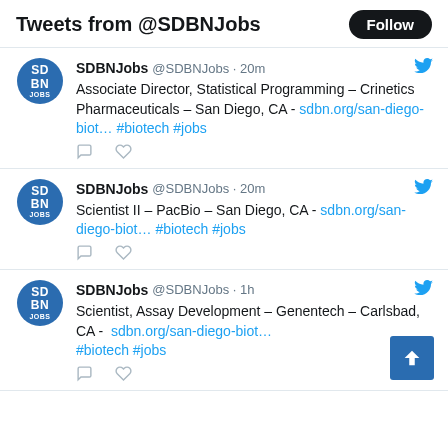Tweets from @SDBNJobs
SDBNJobs @SDBNJobs · 20m
Associate Director, Statistical Programming – Crinetics Pharmaceuticals – San Diego, CA - sdbn.org/san-diego-biot… #biotech #jobs
SDBNJobs @SDBNJobs · 20m
Scientist II – PacBio – San Diego, CA - sdbn.org/san-diego-biot… #biotech #jobs
SDBNJobs @SDBNJobs · 1h
Scientist, Assay Development – Genentech – Carlsbad, CA - sdbn.org/san-diego-biot… #biotech #jobs